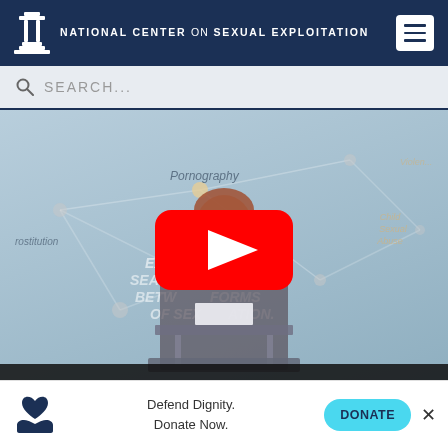NATIONAL CENTER ON SEXUAL EXPLOITATION
SEARCH...
[Figure (screenshot): YouTube-style video player showing a woman speaking at a podium in front of a blue network diagram backdrop with text 'EXPOSING THE SEAMLESS CONNECTIONS BETWEEN ALL FORMS OF SEXUAL EXPLOITATION.' Words 'Pornography', 'Prostitution', 'Child Sexual Abuse', 'Violence' visible on backdrop. Large red YouTube play button overlay in center.]
Defend Dignity. Donate Now.
DONATE